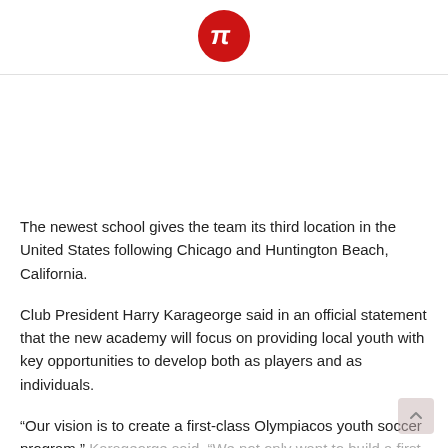[Figure (logo): Olympiacos red circular logo with white stylized letters/symbol]
The newest school gives the team its third location in the United States following Chicago and Huntington Beach, California.
Club President Harry Karageorge said in an official statement that the new academy will focus on providing local youth with key opportunities to develop both as players and as individuals.
“Our vision is to create a first-class Olympiacos youth soccer program,” Karageorge said. “We not only want to build a first-rate soccer club, but we also want kids to be active in the community